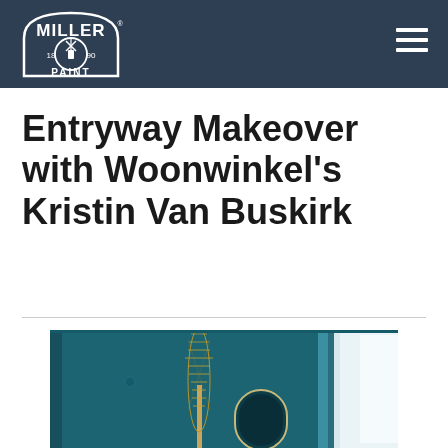Miller Paint (logo) — navigation header
Entryway Makeover with Woonwinkel's Kristin Van Buskirk
[Figure (photo): Interior entryway photo showing teal/dark blue painted walls, an open white door letting in bright light, a tall ornate woven/beaded wall sculpture, and a round arch-framed mirror on the wall.]